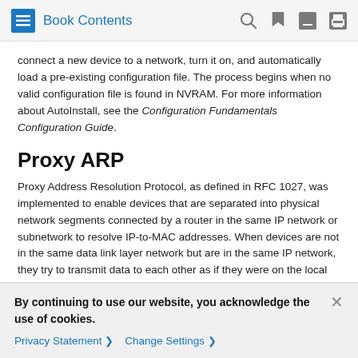Book Contents
connect a new device to a network, turn it on, and automatically load a pre-existing configuration file. The process begins when no valid configuration file is found in NVRAM. For more information about AutoInstall, see the Configuration Fundamentals Configuration Guide.
Proxy ARP
Proxy Address Resolution Protocol, as defined in RFC 1027, was implemented to enable devices that are separated into physical network segments connected by a router in the same IP network or subnetwork to resolve IP-to-MAC addresses. When devices are not in the same data link layer network but are in the same IP network, they try to transmit data to each other as if they were on the local network. However, the router that
By continuing to use our website, you acknowledge the use of cookies.
Privacy Statement > Change Settings >